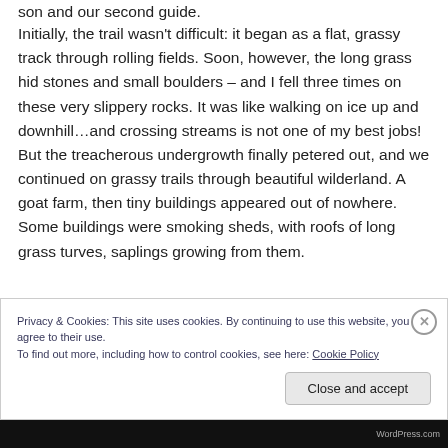son and our second guide.
Initially, the trail wasn't difficult: it began as a flat, grassy track through rolling fields. Soon, however, the long grass hid stones and small boulders – and I fell three times on these very slippery rocks. It was like walking on ice up and downhill…and crossing streams is not one of my best jobs! But the treacherous undergrowth finally petered out, and we continued on grassy trails through beautiful wilderland. A goat farm, then tiny buildings appeared out of nowhere. Some buildings were smoking sheds, with roofs of long grass turves, saplings growing from them.
Privacy & Cookies: This site uses cookies. By continuing to use this website, you agree to their use.
To find out more, including how to control cookies, see here: Cookie Policy
Close and accept